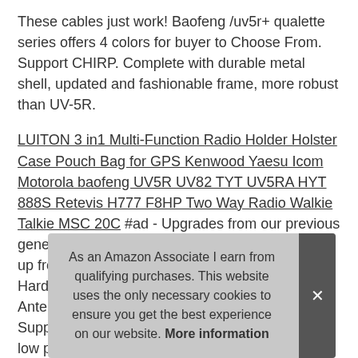These cables just work! Baofeng /uv5r+ qualette series offers 4 colors for buyer to Choose From. Support CHIRP. Complete with durable metal shell, updated and fashionable frame, more robust than UV-5R.
LUITON 3 in1 Multi-Function Radio Holder Holster Case Pouch Bag for GPS Kenwood Yaesu Icom Motorola baofeng UV5R UV82 TYT UV5RA HYT 888S Retevis H777 F8HP Two Way Radio Walkie Talkie MSC 20C #ad - Upgrades from our previous generation uv-5r: twice the output power 8 watts up from 4 watts output, 30% Larger Battery, New Hardened Durable Radio Shell, V-85 High Gain Antenna Twice the Antenna Performance, USA Support + In-depth User Guide Included. High / low power settings 8w, 4w, 1w; frequency rang... 136... Eac... and a charging dock; the charger comes with an AC wall-wart
As an Amazon Associate I earn from qualifying purchases. This website uses the only necessary cookies to ensure you get the best experience on our website. More information